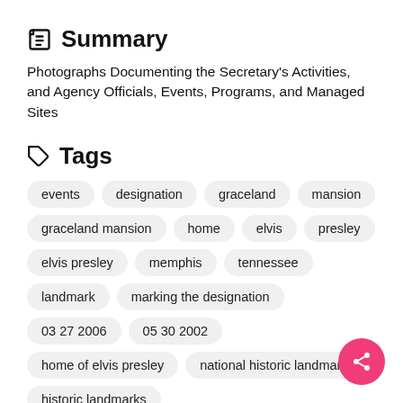Summary
Photographs Documenting the Secretary's Activities, and Agency Officials, Events, Programs, and Managed Sites
Tags
events
designation
graceland
mansion
graceland mansion
home
elvis
presley
elvis presley
memphis
tennessee
landmark
marking the designation
03 27 2006
05 30 2002
home of elvis presley
national historic landmark
historic landmarks
Date